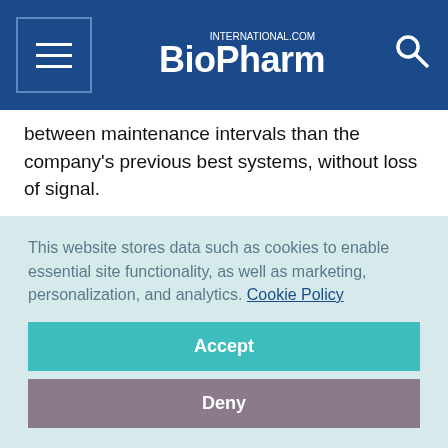BioPharm International
between maintenance intervals than the company's previous best systems, without loss of signal.
The TSQ Endura triple quadrupole mass spectrometer shares much of the technology of the TSQ Quantiva MS, but was designed to deliver higher uptime than any competitive triple quadrupole instrument. It was built for workhorse applications requiring trace level quantitation, such as pharmaceutical QA/QC.
This website stores data such as cookies to enable essential site functionality, as well as marketing, personalization, and analytics. Cookie Policy
Accept
Deny